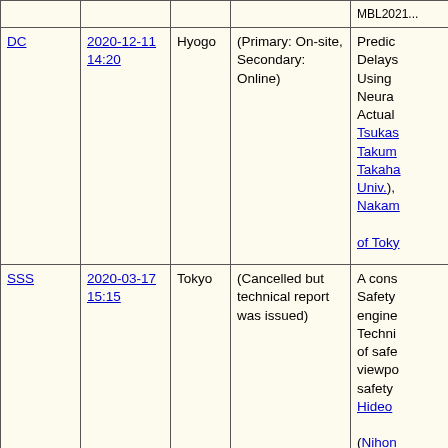| Type | Date/Time | Location | Status | Title/Authors |
| --- | --- | --- | --- | --- |
|  |  |  |  | MBL2021... |
| DC | 2020-12-11 14:20 | Hyogo | (Primary: On-site, Secondary: Online) | Predic Delays Using Neura Actual Tsukas Takum Takaha Univ.), Nakam of Toky |
| SSS | 2020-03-17 15:15 | Tokyo | (Cancelled but technical report was issued) | A cons Safety engine Techni of safe viewpo safety Hideo (Nihon [31] |
|  |  |  | University of | Accura manua naku... |